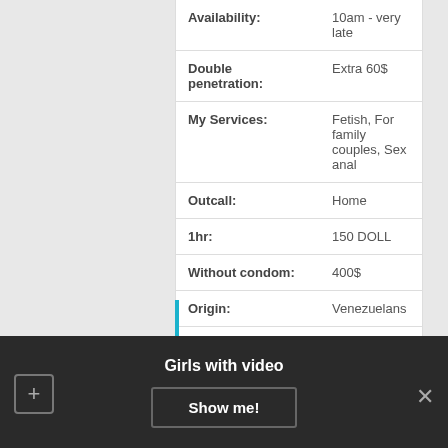| Field | Value |
| --- | --- |
| Availability: | 10am - very late |
| Double penetration: | Extra 60$ |
| My Services: | Fetish, For family couples, Sex anal |
| Outcall: | Home |
| 1hr: | 150 DOLL |
| Without condom: | 400$ |
| Origin: | Venezuelans |
+ VIDEO
Girls with video
Show me!